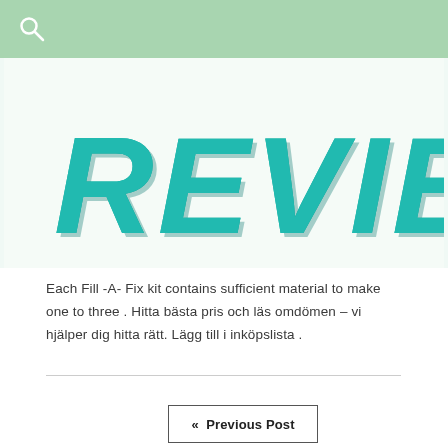Search icon header bar
[Figure (photo): 3D teal/turquoise block letters spelling REVIEW on a white background]
Each Fill -A- Fix kit contains sufficient material to make one to three . Hitta bästa pris och läs omdömen – vi hjälper dig hitta rätt. Lägg till i inköpslista .
« Previous Post